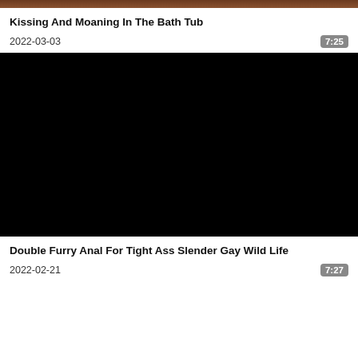[Figure (photo): Partial video thumbnail at top of page, dark/brown tones]
Kissing And Moaning In The Bath Tub
2022-03-03
7:25
[Figure (photo): Black video thumbnail / placeholder]
Double Furry Anal For Tight Ass Slender Gay Wild Life
2022-02-21
7:27